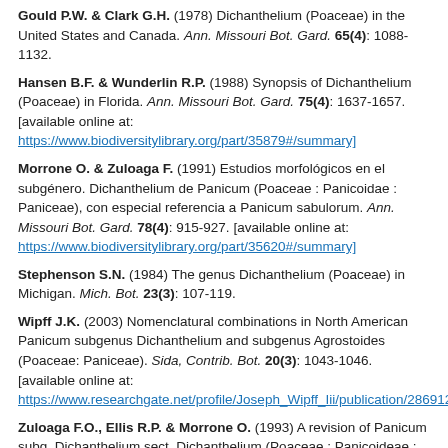Gould P.W. & Clark G.H. (1978) Dichanthelium (Poaceae) in the United States and Canada. Ann. Missouri Bot. Gard. 65(4): 1088-1132.
Hansen B.F. & Wunderlin R.P. (1988) Synopsis of Dichanthelium (Poaceae) in Florida. Ann. Missouri Bot. Gard. 75(4): 1637-1657. [available online at: https://www.biodiversitylibrary.org/part/35879#/summary]
Morrone O. & Zuloaga F. (1991) Estudios morfológicos en el subgénero. Dichanthelium de Panicum (Poaceae : Panicoidae : Paniceae), con especial referencia a Panicum sabulorum. Ann. Missouri Bot. Gard. 78(4): 915-927. [available online at: https://www.biodiversitylibrary.org/part/35620#/summary]
Stephenson S.N. (1984) The genus Dichanthelium (Poaceae) in Michigan. Mich. Bot. 23(3): 107-119.
Wipff J.K. (2003) Nomenclatural combinations in North American Panicum subgenus Dichanthelium and subgenus Agrostoides (Poaceae: Paniceae). Sida, Contrib. Bot. 20(3): 1043-1046. [available online at: https://www.researchgate.net/profile/Joseph_Wipff_Iii/publication/286912...]
Zuloaga F.O., Ellis R.P. & Morrone O. (1993) A revision of Panicum subg. Dichanthelium sect. Dichanthelium (Poaceae : Panicoideae : Paniceae) in Mesoamerica, the West Indies, and South America. Ann. Missouri Bot. Gard. 80(1): 119-190. [available online at: https://www.researchgate.net/publication/273074814_A_Revision_of_Panicum...]